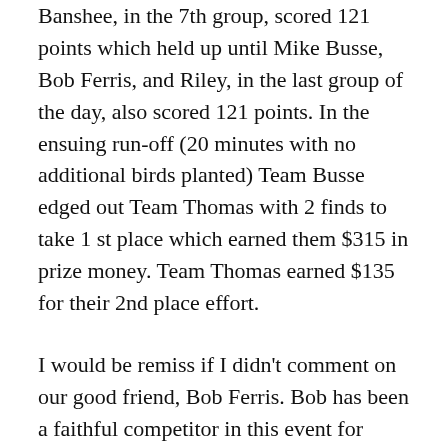Banshee, in the 7th group, scored 121 points which held up until Mike Busse, Bob Ferris, and Riley, in the last group of the day, also scored 121 points. In the ensuing run-off (20 minutes with no additional birds planted) Team Busse edged out Team Thomas with 2 finds to take 1 st place which earned them $315 in prize money. Team Thomas earned $135 for their 2nd place effort.
I would be remiss if I didn't comment on our good friend, Bob Ferris. Bob has been a faithful competitor in this event for many years. He has never been one to make excuses or let the small matter of age keep him from participating. This year, at 75 years old, not only did he partner with